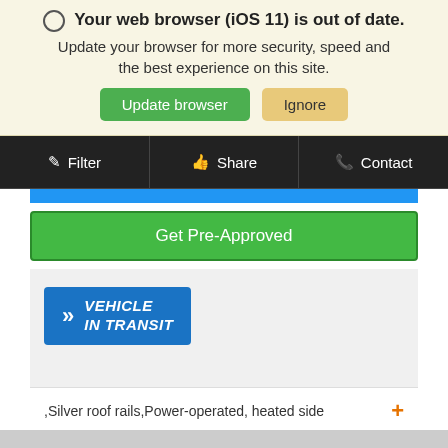Your web browser (iOS 11) is out of date. Update your browser for more security, speed and the best experience on this site.
[Figure (screenshot): Two buttons: green 'Update browser' and tan/orange 'Ignore']
[Figure (screenshot): Black navigation bar with Filter, Share, and Contact tabs]
[Figure (screenshot): Blue bar and green 'Get Pre-Approved' button]
[Figure (screenshot): Vehicle In Transit badge on gray background]
,Silver roof rails,Power-operated, heated side
[Figure (screenshot): Search icon and chat bubble button]